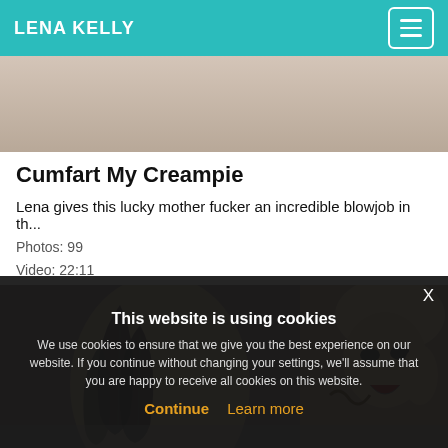LENA KELLY
[Figure (photo): Partial photo of a person on a bed, cropped at top]
Cumfart My Creampie
Lena gives this lucky mother fucker an incredible blowjob in th...
Photos: 99
Video: 22:11
[Figure (photo): Photo of a tattooed person on a bed]
This website is using cookies
We use cookies to ensure that we give you the best experience on our website. If you continue without changing your settings, we'll assume that you are happy to receive all cookies on this website.
Continue  Learn more